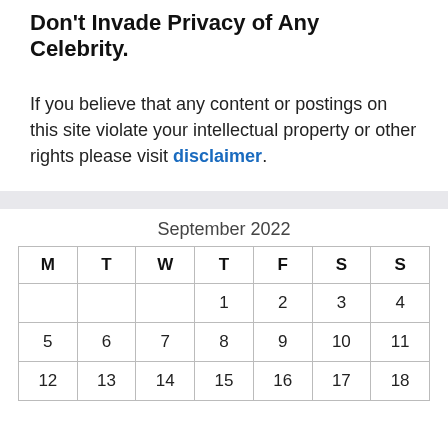Don't Invade Privacy of Any Celebrity.
If you believe that any content or postings on this site violate your intellectual property or other rights please visit disclaimer.
| M | T | W | T | F | S | S |
| --- | --- | --- | --- | --- | --- | --- |
|  |  |  | 1 | 2 | 3 | 4 |
| 5 | 6 | 7 | 8 | 9 | 10 | 11 |
| 12 | 13 | 14 | 15 | 16 | 17 | 18 |